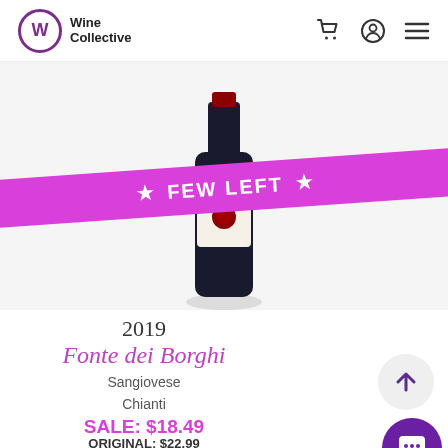Wine Collective
[Figure (photo): Wine bottle with label partially visible, showing Fonte dei Borghi wine, with a pink/magenta diagonal banner overlay reading FEW LEFT with stars]
2019
Fonte dei Borghi
Sangiovese
Chianti
SALE: $18.49
ORIGINAL: $22.99